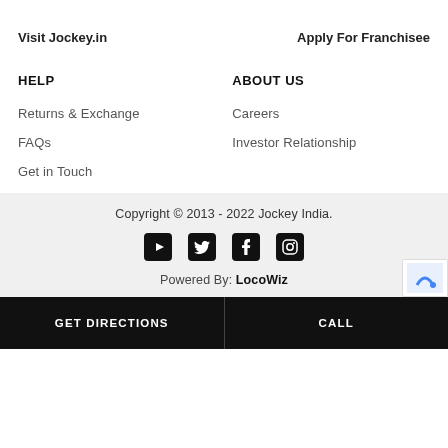Visit Jockey.in
Apply For Franchisee
HELP
ABOUT US
Returns & Exchange
Careers
FAQs
Investor Relationship
Get in Touch
Copyright © 2013 - 2022 Jockey India.
[Figure (illustration): Social media icons: YouTube, Twitter, Facebook, Instagram]
Powered By: LocoWiz
GET DIRECTIONS   CALL